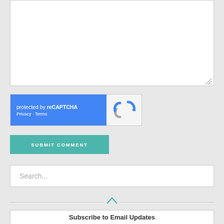[Figure (screenshot): A textarea input box with a resize handle at the bottom-right corner]
[Figure (screenshot): reCAPTCHA widget showing 'protected by reCAPTCHA' text in blue on the left and the reCAPTCHA logo on the right. Links for Privacy and Terms shown below.]
SUBMIT COMMENT
Search...
Subscribe to Email Updates